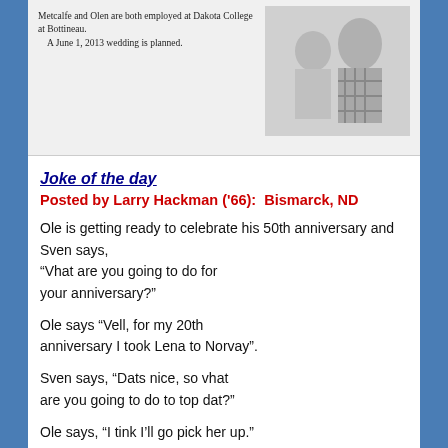[Figure (photo): Newspaper clipping showing text about Metcalfe and Olen being employed at Dakota College at Bottineau, with a June 1, 2013 wedding planned, alongside a black and white photo of a couple.]
Joke of the day
Posted by Larry Hackman ('66):  Bismarck, ND
Ole is getting ready to celebrate his 50th anniversary and Sven says,
“Vhat are you going to do for your anniversary?”
Ole says “Vell, for my 20th anniversary I took Lena to Norvay”.
Sven says, “Dats nice, so vhat are you going to do to top dat?”
Ole says, “I tink I’ll go pick her up.”